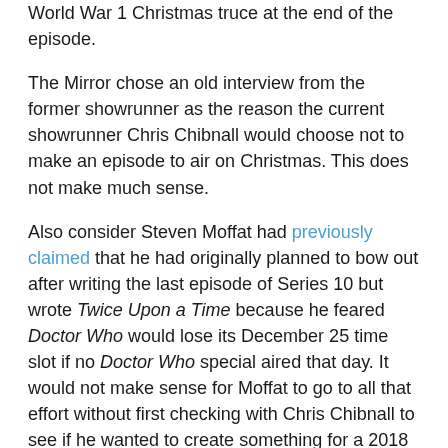World War 1 Christmas truce at the end of the episode.
The Mirror chose an old interview from the former showrunner as the reason the current showrunner Chris Chibnall would choose not to make an episode to air on Christmas. This does not make much sense.
Also consider Steven Moffat had previously claimed that he had originally planned to bow out after writing the last episode of Series 10 but wrote Twice Upon a Time because he feared Doctor Who would lose its December 25 time slot if no Doctor Who special aired that day. It would not make sense for Moffat to go to all that effort without first checking with Chris Chibnall to see if he wanted to create something for a 2018 Christmas day airing.
It gets worse. The Mirror also claims that the eleventh episode of Doctor Who Series 11 is the only new episode of Doctor Who that will air in 2019.